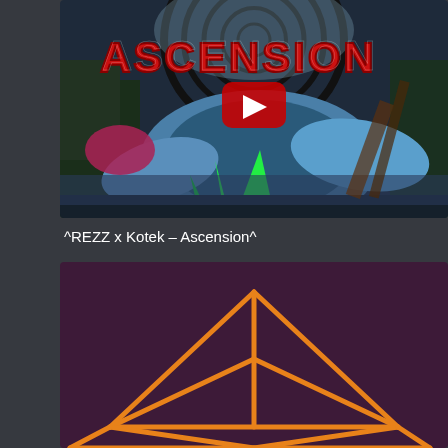[Figure (screenshot): YouTube video thumbnail for REZZ x Kotek – Ascension. Colorful psychedelic comic-book style art with the word ASCENSION in red dripping letters over a dark swirling background with blue, green, pink creatures. A YouTube play button overlay is centered on the thumbnail.]
^REZZ x Kotek – Ascension^
[Figure (illustration): Dark maroon/purple background with an orange geometric pyramid/octahedron wireframe shape centered in the lower portion, partially cropped at bottom.]